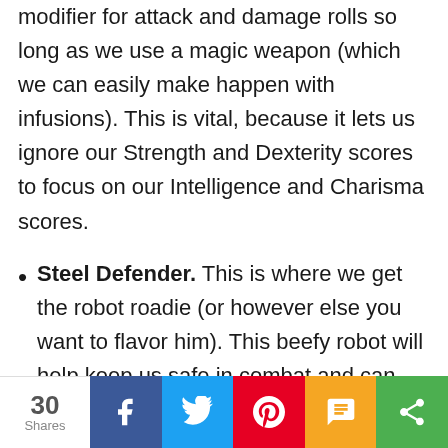modifier for attack and damage rolls so long as we use a magic weapon (which we can easily make happen with infusions). This is vital, because it lets us ignore our Strength and Dexterity scores to focus on our Intelligence and Charisma scores.
Steel Defender. This is where we get the robot roadie (or however else you want to flavor him). This beefy robot will help keep us safe in combat and can deal a surprising amount of
30 Shares  f  [Twitter]  [Pinterest]  SMS  [Share]